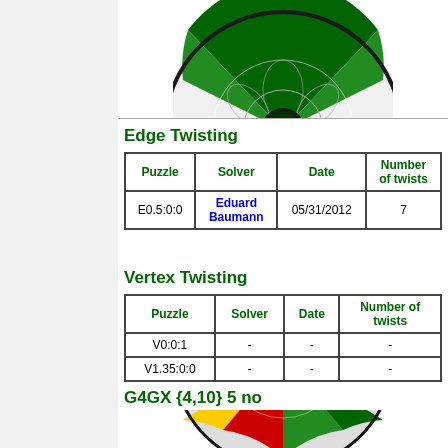[Figure (illustration): Circular geometric puzzle image with green pattern on white/gray background, partially cropped at top]
Edge Twisting
| Puzzle | Solver | Date | Number of twists |
| --- | --- | --- | --- |
| E0.5:0:0 | Eduard Baumann | 05/31/2012 | 7 |
Vertex Twisting
| Puzzle | Solver | Date | Number of twists |
| --- | --- | --- | --- |
| V0:0:1 | - | - | - |
| V1.35:0:0 | - | - | - |
G4GX {4,10} 5 no
[Figure (illustration): Circular geometric puzzle image with multicolor (blue, red, yellow, green) pattern, partially cropped at bottom]